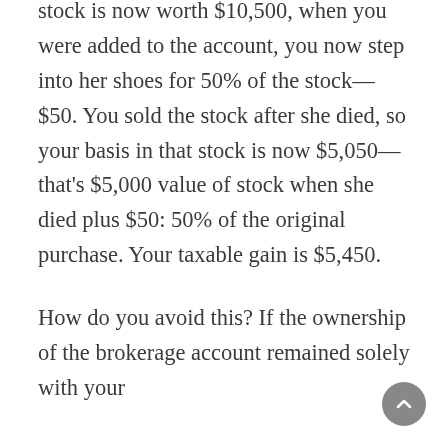stock is now worth $10,500, when you were added to the account, you now step into her shoes for 50% of the stock—$50. You sold the stock after she died, so your basis in that stock is now $5,050—that's $5,000 value of stock when she died plus $50: 50% of the original purchase. Your taxable gain is $5,450.
How do you avoid this? If the ownership of the brokerage account remained solely with your